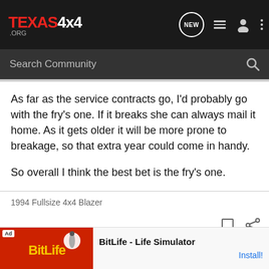[Figure (screenshot): Texas4x4.org website navigation bar with logo, NEW button, list icon, user icon, and dots menu]
[Figure (screenshot): Search Community search bar with magnifying glass icon]
As far as the service contracts go, I'd probably go with the fry's one. If it breaks she can always mail it home. As it gets older it will be more prone to breakage, so that extra year could come in handy.
So overall I think the best bet is the fry's one.
1994 Fullsize 4x4 Blazer
[Figure (screenshot): Ad banner for BitLife - Life Simulator app with Install! button]